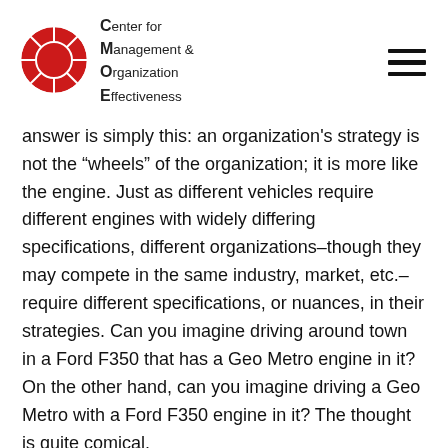Center for Management & Organization Effectiveness
answer is simply this: an organization's strategy is not the “wheels” of the organization; it is more like the engine. Just as different vehicles require different engines with widely differing specifications, different organizations–though they may compete in the same industry, market, etc.–require different specifications, or nuances, in their strategies. Can you imagine driving around town in a Ford F350 that has a Geo Metro engine in it? On the other hand, can you imagine driving a Geo Metro with a Ford F350 engine in it? The thought is quite comical.
Again, beginning any strategic planning effort with a template strategy is fine, as long as the work to